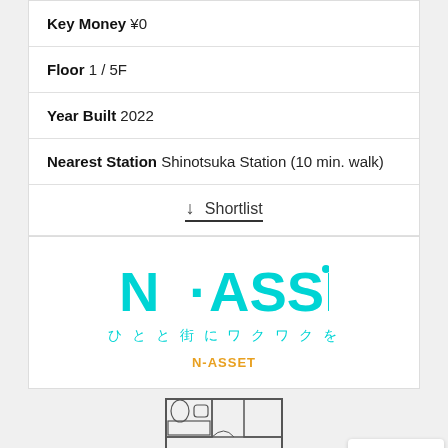Key Money ¥0
Floor 1 / 5F
Year Built 2022
Nearest Station Shinotsuka Station (10 min. walk)
↓ Shortlist
[Figure (logo): N·ASSET company logo in cyan with Japanese tagline ひとと街にワクワクを and orange N-ASSET text below]
[Figure (engineering-diagram): Partial apartment floor plan showing bathroom and room layout in bottom center, and reCAPTCHA badge in bottom right]